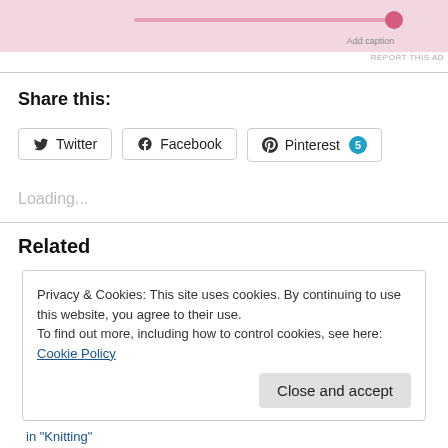[Figure (screenshot): Pink ad banner with a slider track and thumb, 'Add caption' text, and 'REPORT THIS AD' link]
Share this:
Twitter
Facebook
Pinterest 5
Loading...
Related
Privacy & Cookies: This site uses cookies. By continuing to use this website, you agree to their use.
To find out more, including how to control cookies, see here: Cookie Policy
Close and accept
in "Knitting"